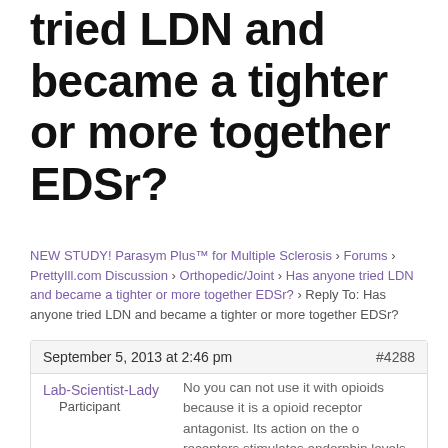tried LDN and became a tighter or more together EDSr?
NEW STUDY! Parasym Plus™ for Multiple Sclerosis › Forums › PrettyIll.com Discussion › Orthopedic/Joint › Has anyone tried LDN and became a tighter or more together EDSr? › Reply To: Has anyone tried LDN and became a tighter or more together EDSr?
September 5, 2013 at 2:46 pm
#4288
Lab-Scientist-Lady
Participant
No you can not use it with opioids because it is a opioid receptor antagonist. Its action on the o receptors stimulates endorphin levels and I believe opioid growth factor. PEA (supplement sold in Europe) can be used with opiods.
Be careful. From what I am
Be careful. From what I am